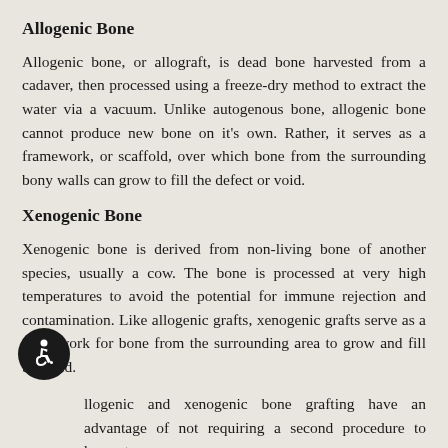Allogenic Bone
Allogenic bone, or allograft, is dead bone harvested from a cadaver, then processed using a freeze-dry method to extract the water via a vacuum. Unlike autogenous bone, allogenic bone cannot produce new bone on it’s own. Rather, it serves as a framework, or scaffold, over which bone from the surrounding bony walls can grow to fill the defect or void.
Xenogenic Bone
Xenogenic bone is derived from non-living bone of another species, usually a cow. The bone is processed at very high temperatures to avoid the potential for immune rejection and contamination. Like allogenic grafts, xenogenic grafts serve as a framework for bone from the surrounding area to grow and fill the void.
Both allogenic and xenogenic bone grafting have an advantage of not requiring a second procedure to harvest